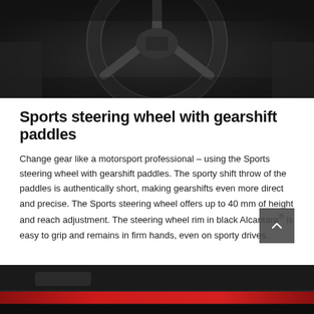[Figure (photo): Close-up photo of a sports steering wheel interior, dark/black tones, showing the steering wheel hub and column area]
Sports steering wheel with gearshift paddles
Change gear like a motorsport professional – using the Sports steering wheel with gearshift paddles. The sporty shift throw of the paddles is authentically short, making gearshifts even more direct and precise. The Sports steering wheel offers up to 40 mm of height and reach adjustment. The steering wheel rim in black Alcantara® is easy to grip and remains in firm hands, even on sporty drives.
[Figure (photo): Interior car photo showing a red and black door panel or dashboard trim detail]